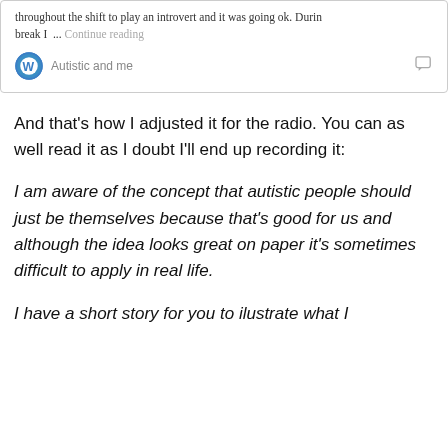throughout the shift to play an introvert and it was going ok. During break I ... Continue reading
Autistic and me
And that's how I adjusted it for the radio. You can as well read it as I doubt I'll end up recording it:
I am aware of the concept that autistic people should just be themselves because that's good for us and although the idea looks great on paper it's sometimes difficult to apply in real life.
I have a short story for you to ilustrate what I